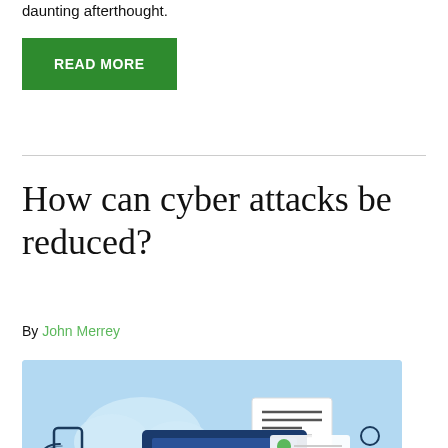daunting afterthought.
READ MORE
How can cyber attacks be reduced?
By John Merrey
[Figure (illustration): Illustration showing a laptop with cloud and cybersecurity icons on a light blue background]